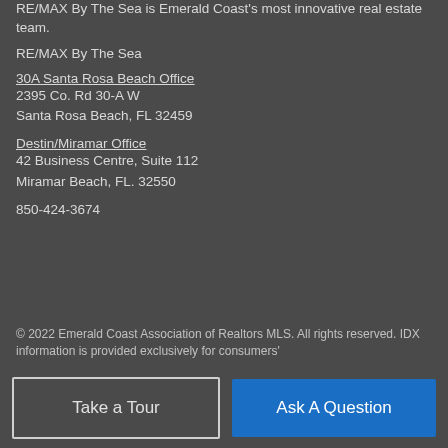RE/MAX By The Sea is Emerald Coast's most innovative real estate team.
RE/MAX By The Sea
30A Santa Rosa Beach Office
2395 Co. Rd 30-A W
Santa Rosa Beach, FL 32459
Destin/Miramar Office
42 Business Centre, Suite 112
Miramar Beach, FL. 32550
850-424-3674
© 2022 Emerald Coast Association of Realtors MLS. All rights reserved. IDX information is provided exclusively for consumers'
Take a Tour
Ask A Question